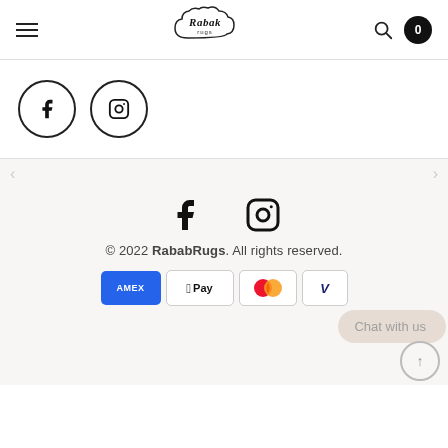Rabak Rugs navigation bar with hamburger menu, logo, search icon, and cart (0)
[Figure (logo): Rabak Rugs logo — cloud shape with cursive 'Rabak' and 'rugs' text inside]
[Figure (illustration): Social media icons: Facebook (f) and Instagram in circular outlines]
[Figure (illustration): Footer social icons: Facebook and Instagram (larger, filled)]
© 2022 RababRugs. All rights reserved.
[Figure (other): Payment method logos: Amex, Apple Pay, Mastercard, Visa]
Chat with us